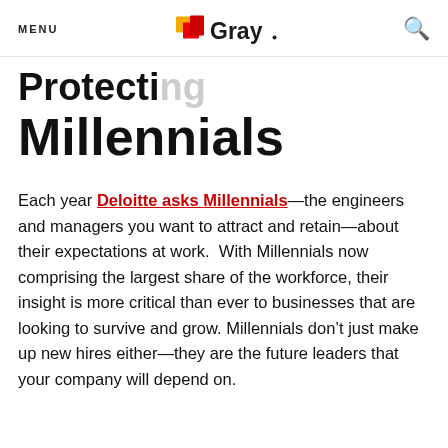MENU | Gray | [search icon]
Protecting Millennials
Each year Deloitte asks Millennials—the engineers and managers you want to attract and retain—about their expectations at work. With Millennials now comprising the largest share of the workforce, their insight is more critical than ever to businesses that are looking to survive and grow. Millennials don't just make up new hires either—they are the future leaders that your company will depend on.